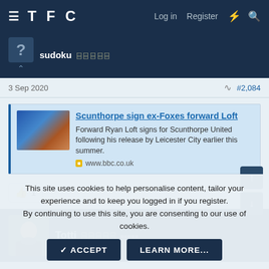TFC  Log in  Register
sudoku
3 Sep 2020  #2,084
[Figure (screenshot): Article embed with thumbnail showing footballer in blue kit. Title: Scunthorpe sign ex-Foxes forward Loft. Description: Forward Ryan Loft signs for Scunthorpe United following his release by Leicester City earlier this summer. Source: www.bbc.co.uk]
👍 1
Totti 🏆🏆🏆🏆🏆
This site uses cookies to help personalise content, tailor your experience and to keep you logged in if you register.
By continuing to use this site, you are consenting to our use of cookies.